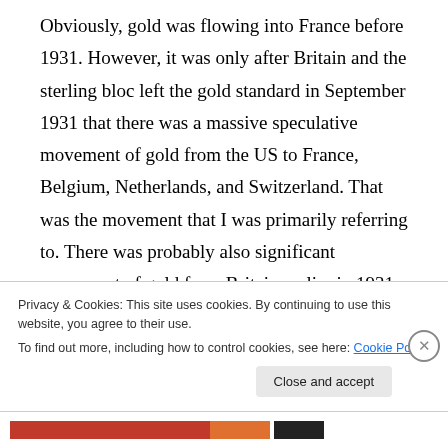Obviously, gold was flowing into France before 1931. However, it was only after Britain and the sterling bloc left the gold standard in September 1931 that there was a massive speculative movement of gold from the US to France, Belgium, Netherlands, and Switzerland. That was the movement that I was primarily referring to. There was probably also significant movement of gold from Britain earlier in 1931 before Britain wisely decided to end gold convertibility and allow sterling to depreciate,
Privacy & Cookies: This site uses cookies. By continuing to use this website, you agree to their use.
To find out more, including how to control cookies, see here: Cookie Policy